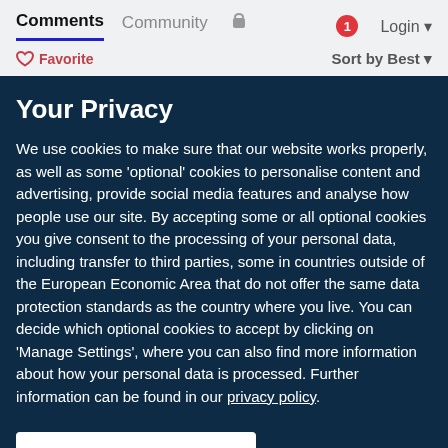Comments  Community  🔒  1  Login ▾
♡ Favorite   Sort by Best ▾
Your Privacy
We use cookies to make sure that our website works properly, as well as some 'optional' cookies to personalise content and advertising, provide social media features and analyse how people use our site. By accepting some or all optional cookies you give consent to the processing of your personal data, including transfer to third parties, some in countries outside of the European Economic Area that do not offer the same data protection standards as the country where you live. You can decide which optional cookies to accept by clicking on 'Manage Settings', where you can also find more information about how your personal data is processed. Further information can be found in our privacy policy.
Accept all cookies
Manage preferences